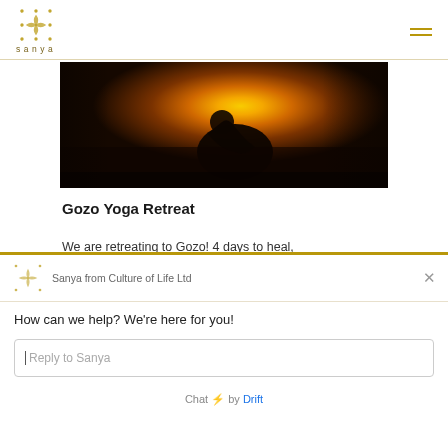sanya
[Figure (photo): Yoga meditation silhouette at sunset/sunrise with golden orange glow]
Gozo Yoga Retreat
We are retreating to Gozo! 4 days to heal, learn and go within.
[Figure (screenshot): Chat popup widget from Drift showing Sanya from Culture of Life Ltd with reply input box]
Sanya from Culture of Life Ltd
How can we help? We're here for you!
Reply to Sanya
Chat by Drift